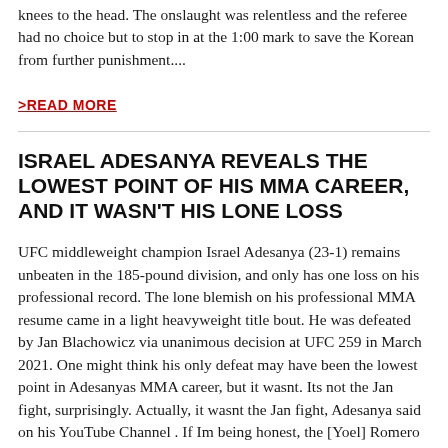knees to the head. The onslaught was relentless and the referee had no choice but to stop in at the 1:00 mark to save the Korean from further punishment....
>READ MORE
ISRAEL ADESANYA REVEALS THE LOWEST POINT OF HIS MMA CAREER, AND IT WASN'T HIS LONE LOSS
UFC middleweight champion Israel Adesanya (23-1) remains unbeaten in the 185-pound division, and only has one loss on his professional record. The lone blemish on his professional MMA resume came in a light heavyweight title bout. He was defeated by Jan Blachowicz via unanimous decision at UFC 259 in March 2021. One might think his only defeat may have been the lowest point in Adesanyas MMA career, but it wasnt. Its not the Jan fight, surprisingly. Actually, it wasnt the Jan fight, Adesanya said on his YouTube Channel . If Im being honest, the [Yoel] Romero fight. That was the first time people were like, aye, boring. After that that I was like, I was fighting. He